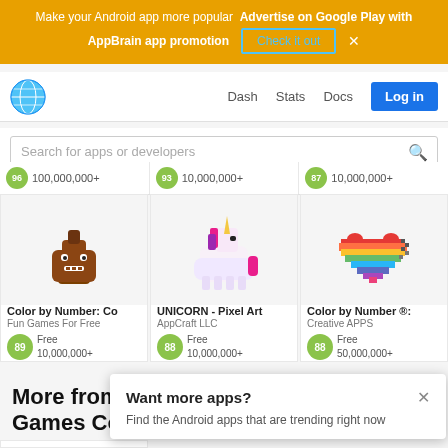Make your Android app more popular  Advertise on Google Play with AppBrain app promotion  Check it out  ×
[Figure (screenshot): AppBrain navigation bar with globe logo, Dash, Stats, Docs links and Log in button]
Search for apps or developers
96  100,000,000+    93  10,000,000+    87  10,000,000+
[Figure (screenshot): Color by Number: Co app card with poop emoji pixel art icon, Fun Games For Free, score 89, Free, 10,000,000+]
[Figure (screenshot): UNICORN - Pixel Art app card with unicorn pixel art icon, AppCraft LLC, score 88, Free, 10,000,000+]
[Figure (screenshot): Color by Number ®: app card with rainbow heart pixel art icon, Creative APPS, score 88, Free, 50,000,000+]
More from ideaFun - Pixel Art Coloring Games Color
Want more apps?
Find the Android apps that are trending right now